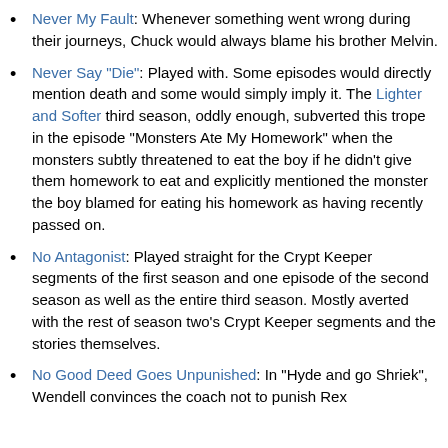Never My Fault: Whenever something went wrong during their journeys, Chuck would always blame his brother Melvin.
Never Say "Die": Played with. Some episodes would directly mention death and some would simply imply it. The Lighter and Softer third season, oddly enough, subverted this trope in the episode "Monsters Ate My Homework" when the monsters subtly threatened to eat the boy if he didn't give them homework to eat and explicitly mentioned the monster the boy blamed for eating his homework as having recently passed on.
No Antagonist: Played straight for the Crypt Keeper segments of the first season and one episode of the second season as well as the entire third season. Mostly averted with the rest of season two's Crypt Keeper segments and the stories themselves.
No Good Deed Goes Unpunished: In "Hyde and go Shriek", Wendell convinces the coach not to punish Rex for bullying him, receiving the same punishment by a little